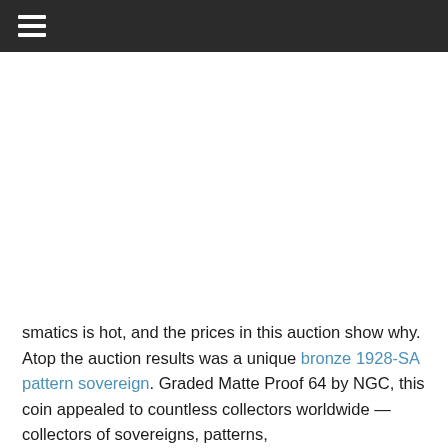≡
smatics is hot, and the prices in this auction show why. Atop the auction results was a unique bronze 1928-SA pattern sovereign. Graded Matte Proof 64 by NGC, this coin appealed to countless collectors worldwide — collectors of sovereigns, patterns,